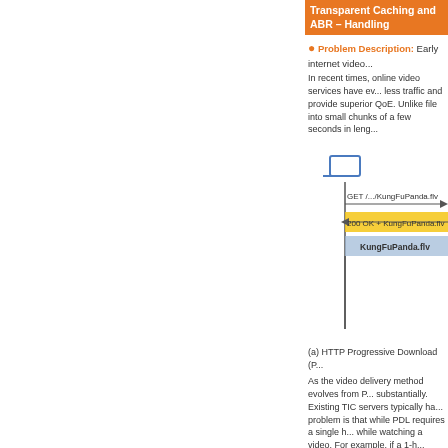Transparent Caching and ABR – Handling
Problem Description: Early internet video...
In recent times, online video services have ev... less traffic and provide superior QoE. Unlike file into small chunks of a few seconds in leng...
[Figure (schematic): HTTP Progressive Download (PDL) diagram showing a laptop client sending GET /.../KungFuPanda.flv and receiving 200 OK + KungFuPanda.flv response, with KungFuPanda.flv label in blue-grey bar]
(a) HTTP Progressive Download (P...
As the video delivery method evolves from P... substantially. Existing TIC servers typically ha... problem is that while PDL requires a single h... while watching a video. For example, if a 1-h...